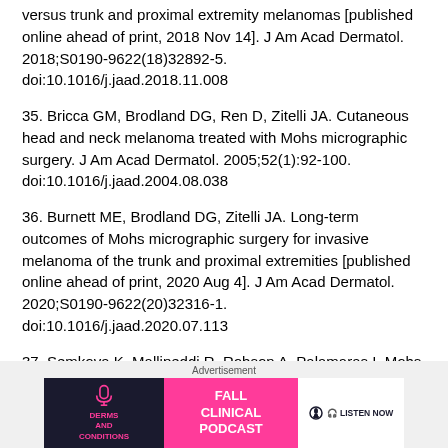versus trunk and proximal extremity melanomas [published online ahead of print, 2018 Nov 14]. J Am Acad Dermatol. 2018;S0190-9622(18)32892-5. doi:10.1016/j.jaad.2018.11.008
35. Bricca GM, Brodland DG, Ren D, Zitelli JA. Cutaneous head and neck melanoma treated with Mohs micrographic surgery. J Am Acad Dermatol. 2005;52(1):92-100. doi:10.1016/j.jaad.2004.08.038
36. Burnett ME, Brodland DG, Zitelli JA. Long-term outcomes of Mohs micrographic surgery for invasive melanoma of the trunk and proximal extremities [published online ahead of print, 2020 Aug 4]. J Am Acad Dermatol. 2020;S0190-9622(20)32316-1. doi:10.1016/j.jaad.2020.07.113
37. Semkova K, Mallipeddi R, Robson A, Palamaras I. Mohs micrographic surgery concordance between Mohs surgeons and dermatopathologists. Dermatol Surg. 2013;39(11):1648-1652. doi:10.1111/dsu.12320
[Figure (infographic): Advertisement banner for 'Derms and Conditions Fall Clinical Podcast' with a Listen Now button. Dark background left panel with microphone icon and pink text, pink middle panel with white bold text 'FALL CLINICAL PODCAST', white right panel with listen now button.]